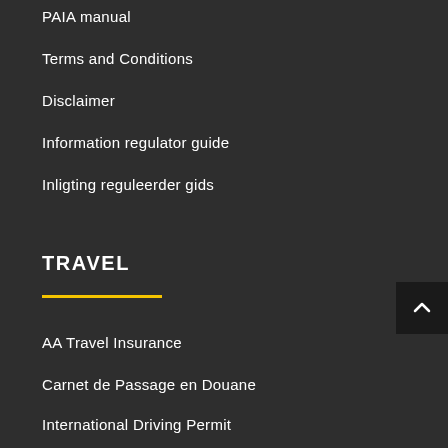PAIA manual
Terms and Conditions
Disclaimer
Information regulator guide
Inligting reguleerder gids
TRAVEL
AA Travel Insurance
Carnet de Passage en Douane
International Driving Permit